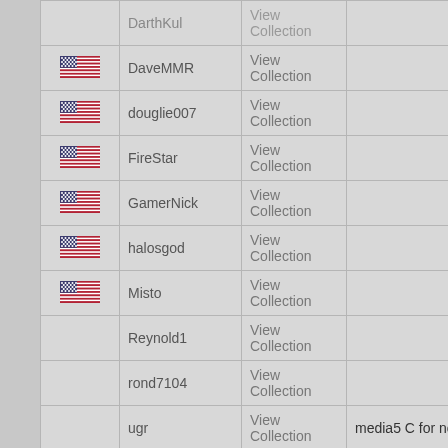| Flag | Username | View | Notes | # |  |
| --- | --- | --- | --- | --- | --- |
| [US flag] | DaveMMR | View Collection |  | 1 | 0 |
| [US flag] | douglie007 | View Collection |  | 1 | 0 |
| [US flag] | FireStar | View Collection |  | 1 | 0 |
| [US flag] | GamerNick | View Collection |  | 1 | 0 |
| [US flag] | halosgod | View Collection |  | 0 | 0 |
| [US flag] | Misto | View Collection |  | 1 | 0 |
|  | Reynold1 | View Collection |  | 1 | 0 |
|  | rond7104 | View Collection |  | 1 | 0 |
|  | ugr | View Collection | media5 C for now | 0 | 0 |
|  | Warpuddy666 | View Collection | One is in very good working and phisical condition. The other is beat up | 2 | 0 |